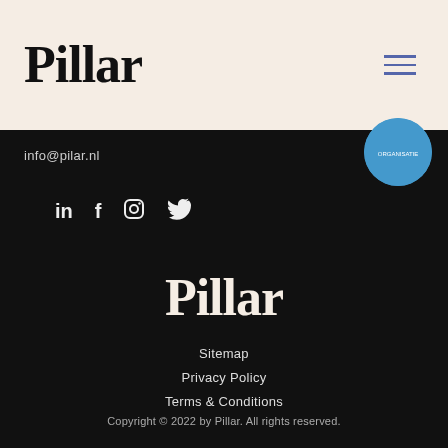Pillar
info@pilar.nl
[Figure (logo): Blue circular badge/seal in top right]
in  f  (instagram)  (twitter) — social media icons
Pillar
Sitemap
Privacy Policy
Terms & Conditions
Copyright © 2022 by Pillar. All rights reserved.